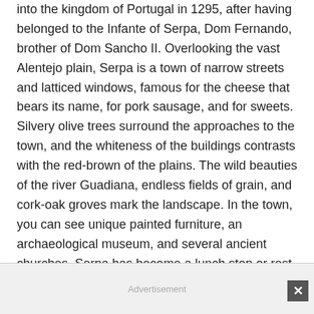into the kingdom of Portugal in 1295, after having belonged to the Infante of Serpa, Dom Fernando, brother of Dom Sancho II. Overlooking the vast Alentejo plain, Serpa is a town of narrow streets and latticed windows, famous for the cheese that bears its name, for pork sausage, and for sweets. Silvery olive trees surround the approaches to the town, and the whiteness of the buildings contrasts with the red-brown of the plains. The wild beauties of the river Guadiana, endless fields of grain, and cork-oak groves mark the landscape. In the town, you can see unique painted furniture, an archaeological museum, and several ancient churches. Serpa has become a lunch stop or rest stop for travelers on the way to and from Spain; many motorists spend the night at the hilltop pousada.
Advertisement